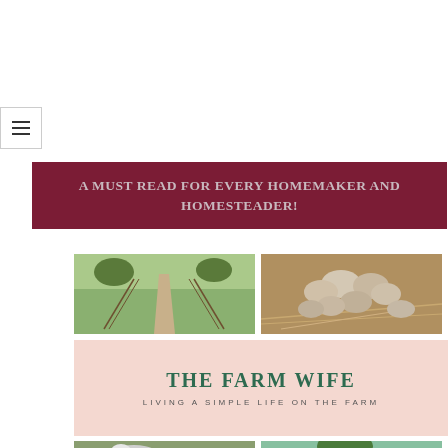[Figure (other): Hamburger menu icon button in top-left area]
A MUST READ FOR EVERY HOMEMAKER AND HOMESTEADER!
[Figure (photo): Farm road with fence and green fields]
[Figure (photo): Nest of eggs on straw]
[Figure (other): Book cover for 'The Farm Wife - Living a Simple Life on the Farm' with pink background]
[Figure (photo): Partial view of cows and farm scene at bottom]